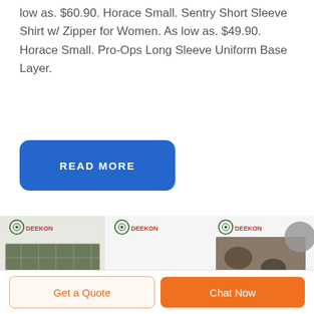low as. $60.90. Horace Small. Sentry Short Sleeve Shirt w/ Zipper for Women. As low as. $49.90. Horace Small. Pro-Ops Long Sleeve Uniform Base Layer.
READ MORE
[Figure (photo): Three product images with DEEKON logo: (1) military cot with mosquito net tent, (2) camouflage boonie hat, (3) camouflage fabric sample with gray circle overlay]
Get a Quote
Chat Now